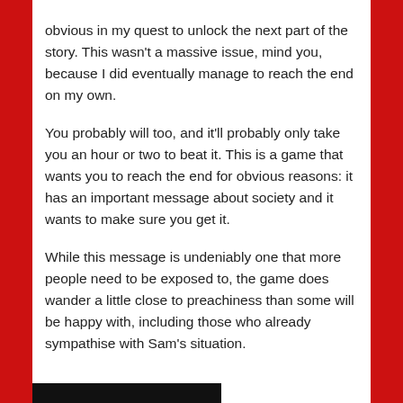obvious in my quest to unlock the next part of the story. This wasn't a massive issue, mind you, because I did eventually manage to reach the end on my own.
You probably will too, and it'll probably only take you an hour or two to beat it. This is a game that wants you to reach the end for obvious reasons: it has an important message about society and it wants to make sure you get it.
While this message is undeniably one that more people need to be exposed to, the game does wander a little close to preachiness than some will be happy with, including those who already sympathise with Sam's situation.